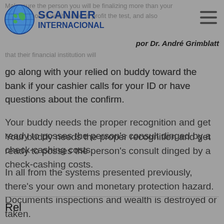SCANNER INTERNACIONAL por Dr. André Grimblatt
Make sure the person you will be finalizing more than your value in money will be able to profit the test, and also that their financial institution will go along with your relied on buddy toward the bank if your cashier calls for your ID or have questions about the confirm.
Your buddy needs the proper recognition and get ready to posses the person's consult dinged by a check-cashing costs.
In all from the systems presented previously, there's your own and monetary protection hazard. Documents inspections and wealth is destroyed or taken.